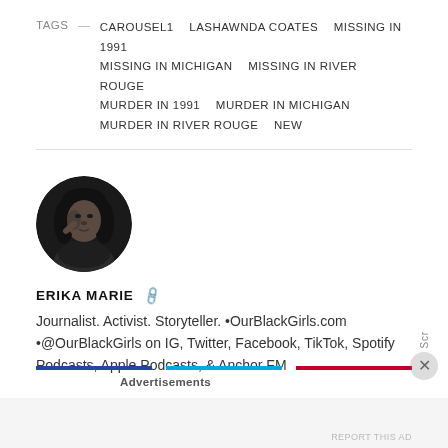TAGS — CAROUSEL1   LASHAWNDA COATES   MISSING IN 1991   MISSING IN MICHIGAN   MISSING IN RIVER ROUGE   MURDER IN 1991   MURDER IN MICHIGAN   MURDER IN RIVER ROUGE   NEW
[Figure (photo): Black and white circular portrait photo of Erika Marie, a woman with long hair]
ERIKA MARIE 🔗
Journalist. Activist. Storyteller. •OurBlackGirls.com •@OurBlackGirls on IG, Twitter, Facebook, TikTok, Spotify Podcasts, Apple Podcasts, & Anchor FM
Advertisements